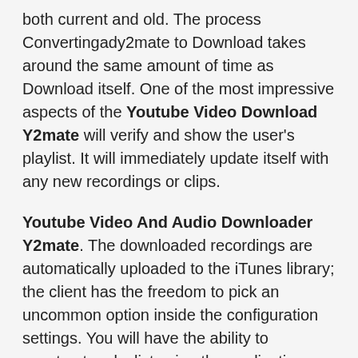both current and old. The process Convertingady2mate to Download takes around the same amount of time as Download itself. One of the most impressive aspects of the Youtube Video Download Y2mate will verify and show the user's playlist. It will immediately update itself with any new recordings or clips.
Youtube Video And Audio Downloader Y2mate. The downloaded recordings are automatically uploaded to the iTunes library; the client has the freedom to pick an uncommon option inside the configuration settings. You will have the ability to construct a playlist using the application, which may then have pre-made downloads. Y2mate Youtube Downloader And Converter may be found on this site and more excellent software. The Y2mate Online Video Downloader offers a